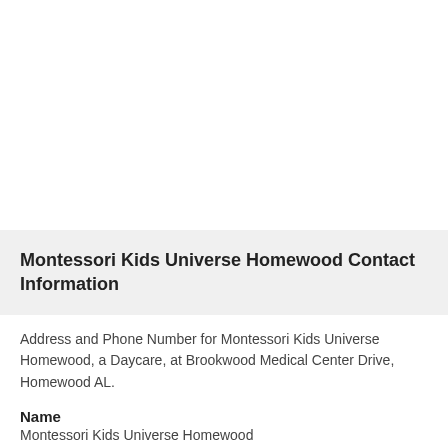Montessori Kids Universe Homewood Contact Information
Address and Phone Number for Montessori Kids Universe Homewood, a Daycare, at Brookwood Medical Center Drive, Homewood AL.
Name
Montessori Kids Universe Homewood
Address